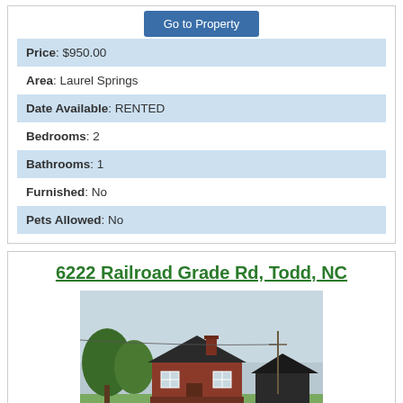Go to Property
| Price: $950.00 |
| Area: Laurel Springs |
| Date Available: RENTED |
| Bedrooms: 2 |
| Bathrooms: 1 |
| Furnished: No |
| Pets Allowed: No |
6222 Railroad Grade Rd, Todd, NC
[Figure (photo): Exterior photo of a brick house with trees, a barn-like structure, and a RENTED sign in front]